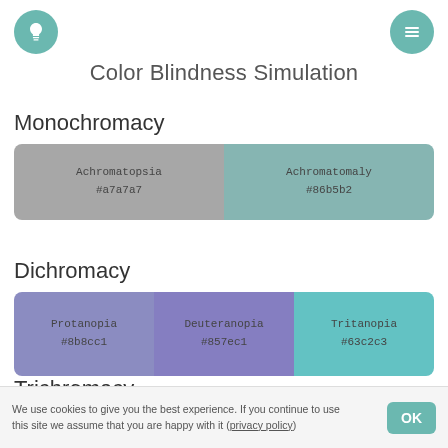[Figure (infographic): Teal circle icon with lightbulb symbol (top-left header)]
[Figure (infographic): Teal circle icon with hamburger menu symbol (top-right header)]
Color Blindness Simulation
Monochromacy
[Figure (infographic): Two-cell color swatch row: Achromatopsia #a7a7a7 (gray) and Achromatomaly #86b5b2 (teal-gray)]
Dichromacy
[Figure (infographic): Three-cell color swatch row: Protanopia #8b8cc1 (violet), Deuteranopia #857ec1 (purple), Tritanopia #63c2c3 (teal)]
Trichromacy
We use cookies to give you the best experience. If you continue to use this site we assume that you are happy with it (privacy policy)